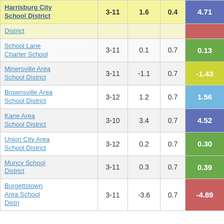| School District | Grades | Growth | SE | Score |
| --- | --- | --- | --- | --- |
| Harrisburg City School District | 3-11 | 1.6 | 0.4 | 4.71 |
| District |  |  |  |  |
| School Lane Charter School | 3-11 | 0.1 | 0.7 | 0.13 |
| Minersville Area School District | 3-11 | -1.1 | 0.7 | -1.43 |
| Brownsville Area School District | 3-12 | 1.2 | 0.7 | 1.56 |
| Kane Area School District | 3-10 | 3.4 | 0.7 | 4.52 |
| Union City Area School District | 3-12 | 0.2 | 0.7 | 0.30 |
| Muncy School District | 3-11 | 0.3 | 0.7 | 0.39 |
| Burgettstown Area School District | 3-11 | -3.6 | 0.7 | -4.89 |